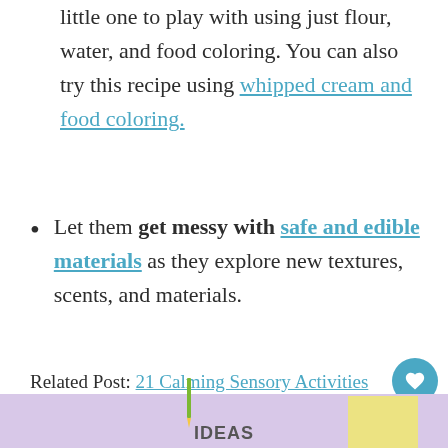little one to play with using just flour, water, and food coloring. You can also try this recipe using whipped cream and food coloring.
Let them get messy with safe and edible materials as they explore new textures, scents, and materials.
Related Post: 21 Calming Sensory Activities for your Overstimulated Toddler
[Figure (illustration): Bottom portion of a colorful image with purple background, yellow block, pencil, and partial text reading IDEAS]